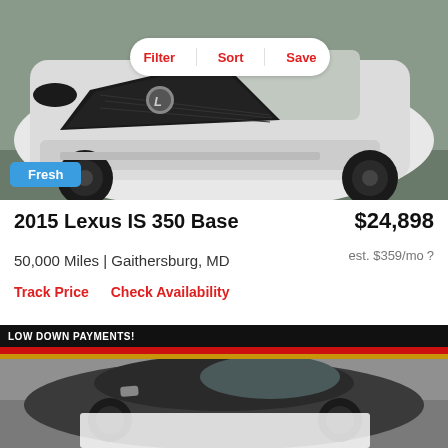[Figure (photo): Front close-up of a white Lexus IS 350, showing the distinctive spindle grille and angular bumper, with black wheels visible. A white pill-shaped toolbar overlay shows Filter, Sort, Save in red text. A blue 'Fresh' badge appears in the lower-left corner of the image.]
2015 Lexus IS 350 Base
$24,898
50,000 Miles | Gaithersburg, MD
est. $359/mo
Track Price   Check Availability
[Figure (photo): Front three-quarter view of a dark gray/charcoal Lexus IS sedan parked in a showroom or garage. A 'LOW DOWN PAYMENTS' banner appears at the top with red and yellow stripes below it. A heart/favorite icon appears in the upper-right. A white blurred rectangle partially obscures the lower portion of the car image.]